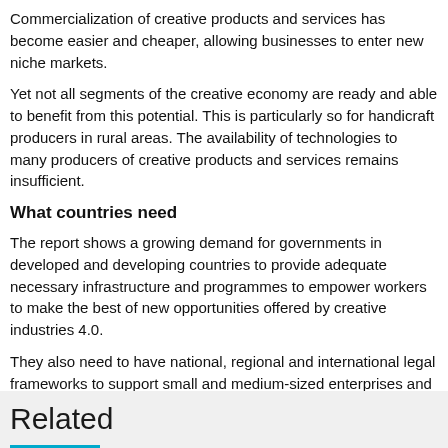Commercialization of creative products and services has become easier and cheaper, allowing businesses to enter new niche markets.
Yet not all segments of the creative economy are ready and able to benefit from this potential. This is particularly so for handicraft producers in rural areas. The availability of technologies to many producers of creative products and services remains insufficient.
What countries need
The report shows a growing demand for governments in developed and developing countries to provide adequate necessary infrastructure and programmes to empower workers to make the best of new opportunities offered by creative industries 4.0.
They also need to have national, regional and international legal frameworks to support small and medium-sized enterprises and consumers in e-commerce, and modern trade governance systems to protect the know-how and creativity of individual artisans and small businesses.
Related